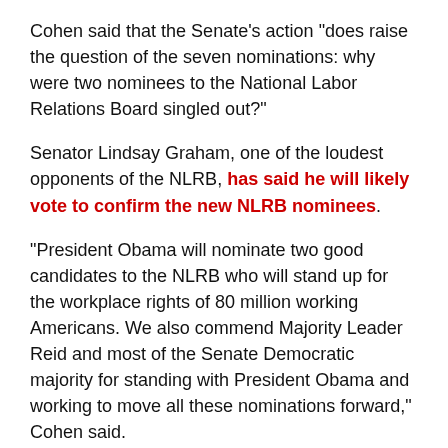Cohen said that the Senate's action "does raise the question of the seven nominations: why were two nominees to the National Labor Relations Board singled out?"
Senator Lindsay Graham, one of the loudest opponents of the NLRB, has said he will likely vote to confirm the new NLRB nominees.
"President Obama will nominate two good candidates to the NLRB who will stand up for the workplace rights of 80 million working Americans. We also commend Majority Leader Reid and most of the Senate Democratic majority for standing with President Obama and working to move all these nominations forward," Cohen said.
"Our main goal was to move all these nominations forward, and this agreement encourages us that we can move toward a 21st century democracy when we